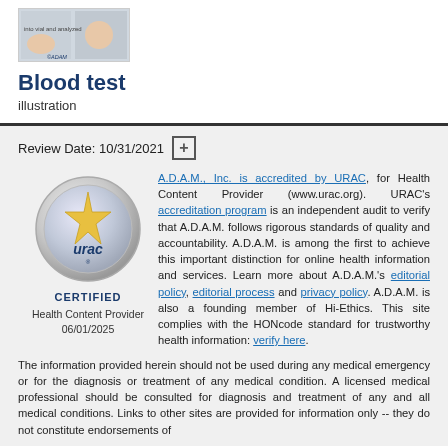[Figure (illustration): Blood test illustration showing hand and medical imagery with A.D.A.M. branding]
Blood test
illustration
Review Date: 10/31/2021
[Figure (logo): URAC certified logo — circular silver badge with gold star and 'urac' text]
Health Content Provider
06/01/2025
A.D.A.M., Inc. is accredited by URAC, for Health Content Provider (www.urac.org). URAC’s accreditation program is an independent audit to verify that A.D.A.M. follows rigorous standards of quality and accountability. A.D.A.M. is among the first to achieve this important distinction for online health information and services. Learn more about A.D.A.M.’s editorial policy, editorial process and privacy policy. A.D.A.M. is also a founding member of Hi-Ethics. This site complies with the HONcode standard for trustworthy health information: verify here.
The information provided herein should not be used during any medical emergency or for the diagnosis or treatment of any medical condition. A licensed medical professional should be consulted for diagnosis and treatment of any and all medical conditions. Links to other sites are provided for information only -- they do not constitute endorsements of those other sites. © 1997- 2024 A.D.A.M., a business unit of Ebix, Inc. Any duplication or distribution of the information contained herein is strictly prohibited.